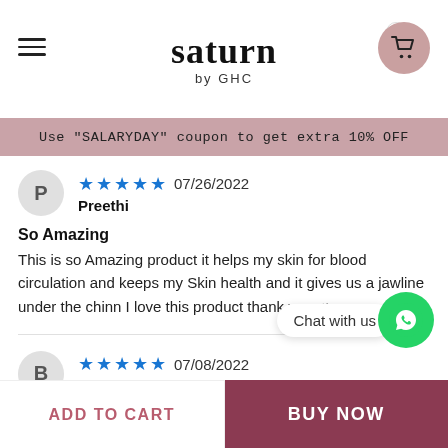saturn by GHC
Use "SALARYDAY" coupon to get extra 10% OFF
P
Preethi
★★★★★ 07/26/2022
So Amazing
This is so Amazing product it helps my skin for blood circulation and keeps my Skin health and it gives us a jawline under the chinn I love this product thank you ♥
B
Verified BeautyofWrath
★★★★★ 07/08/2022
Loved the product
Works really well on skin good for m... reducing stress.
Chat with us
ADD TO CART
BUY NOW